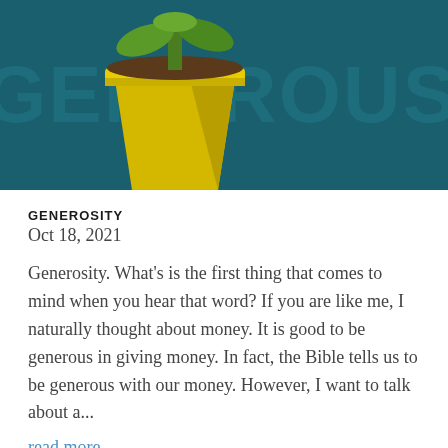[Figure (illustration): A dark teal/green background with a large yellow flower pot illustration on the left and large semi-transparent teal text reading 'GENEROUS' on the right]
GENEROSITY
Oct 18, 2021
Generosity. What's is the first thing that comes to mind when you hear that word? If you are like me, I naturally thought about money. It is good to be generous in giving money. In fact, the Bible tells us to be generous with our money. However, I want to talk about a...
read more